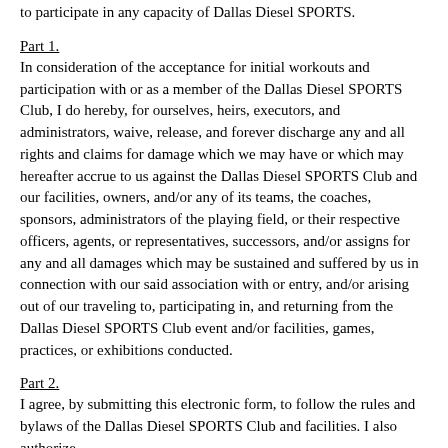to participate in any capacity of Dallas Diesel SPORTS.
Part 1.
In consideration of the acceptance for initial workouts and participation with or as a member of the Dallas Diesel SPORTS Club, I do hereby, for ourselves, heirs, executors, and administrators, waive, release, and forever discharge any and all rights and claims for damage which we may have or which may hereafter accrue to us against the Dallas Diesel SPORTS Club and our facilities, owners, and/or any of its teams, the coaches, sponsors, administrators of the playing field, or their respective officers, agents, or representatives, successors, and/or assigns for any and all damages which may be sustained and suffered by us in connection with our said association with or entry, and/or arising out of our traveling to, participating in, and returning from the Dallas Diesel SPORTS Club event and/or facilities, games, practices, or exhibitions conducted.
Part 2.
I agree, by submitting this electronic form, to follow the rules and bylaws of the Dallas Diesel SPORTS Club and facilities. I also authorize